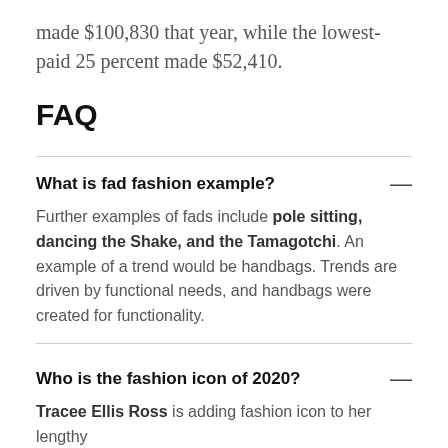made $100,830 that year, while the lowest-paid 25 percent made $52,410.
FAQ
What is fad fashion example?
Further examples of fads include pole sitting, dancing the Shake, and the Tamagotchi. An example of a trend would be handbags. Trends are driven by functional needs, and handbags were created for functionality.
Who is the fashion icon of 2020?
Tracee Ellis Ross is adding fashion icon to her lengthy